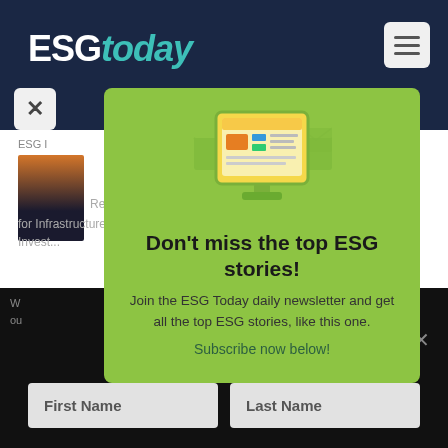[Figure (screenshot): ESG Today website header with dark navy background, ESG Today logo in white and teal, hamburger menu icon top right, close X button top left of popup]
ESG I
Releases ... ment Guidance for Infrastructure Invest...
[Figure (infographic): Green popup modal with monitor/newsletter illustration. Text: Don't miss the top ESG stories! Join the ESG Today daily newsletter and get all the top ESG stories, like this one. Subscribe now below!]
Don't miss the top ESG stories!
Join the ESG Today daily newsletter and get all the top ESG stories, like this one. Subscribe now below!
First Name
Last Name